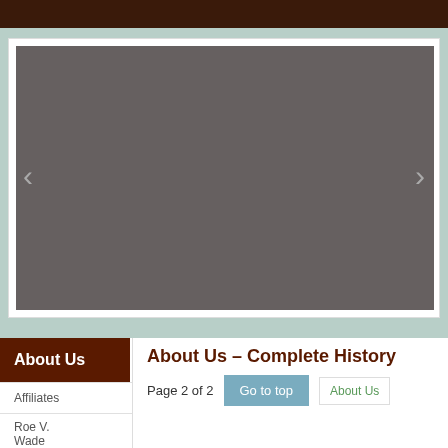[Figure (screenshot): Website screenshot showing a dark brown top navigation bar, a sage/teal background strip, a white card containing a gray image slideshow area with left and right navigation arrows (< and >).]
About Us
Affiliates
Roe V. Wade
About Us – Complete History
Page 2 of 2
Go to top
About Us